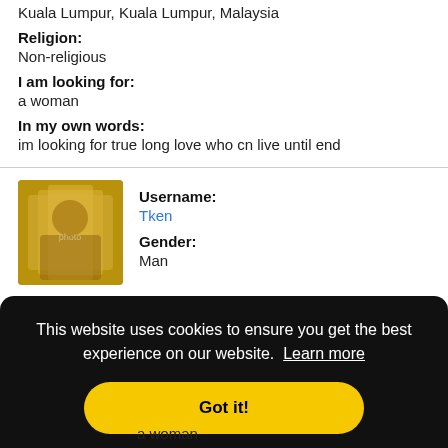Kuala Lumpur, Kuala Lumpur, Malaysia
Religion:
Non-religious
I am looking for:
a woman
In my own words:
im looking for true long love who cn live until end
[Figure (photo): Profile photo of user Tken showing a person in a yellow/gold outfit]
Username:
Tken
Gender:
Man
This website uses cookies to ensure you get the best experience on our website. Learn more
Got it!
a woman